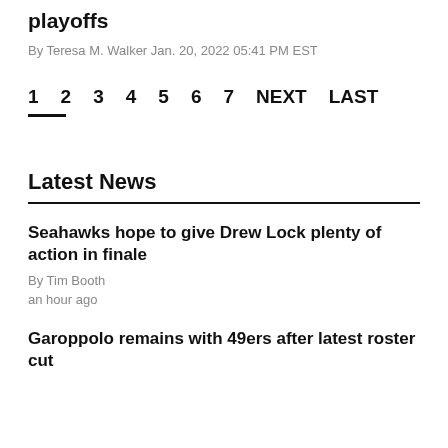playoffs
By Teresa M. Walker Jan. 20, 2022 05:41 PM EST
1  2  3  4  5  6  7  NEXT  LAST
Latest News
Seahawks hope to give Drew Lock plenty of action in finale
By Tim Booth
an hour ago
Garoppolo remains with 49ers after latest roster cut